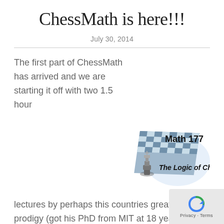ChessMath is here!!!
July 30, 2014
The first part of ChessMath has arrived and we are starting it off with two 1.5 hour lectures by perhaps this countries greatest math prodigy (got his PhD from MIT at 18 years of age),  Dr. Harvey Friedman.  All CCL students and family are welcome to attend.  The classes are:
[Figure (illustration): Math 177 The Logic of Chess book/course cover image showing a chess board with a king piece and chess pieces, with text 'Math 177' and 'The Logic of Chess']
– Where : Mulligan Columbus Chess Club